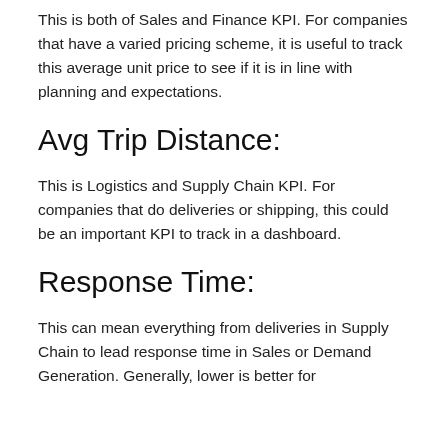This is both of Sales and Finance KPI. For companies that have a varied pricing scheme, it is useful to track this average unit price to see if it is in line with planning and expectations.
Avg Trip Distance:
This is Logistics and Supply Chain KPI. For companies that do deliveries or shipping, this could be an important KPI to track in a dashboard.
Response Time:
This can mean everything from deliveries in Supply Chain to lead response time in Sales or Demand Generation. Generally, lower is better for